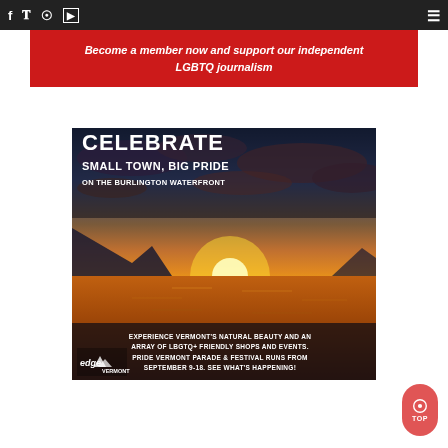Social media navigation icons: Facebook, Twitter, RSS, YouTube, Hamburger menu
Become a member now and support our independent LGBTQ journalism
[Figure (illustration): Advertisement banner: CELEBRATE SMALL TOWN, BIG PRIDE ON THE BURLINGTON WATERFRONT. Sunset over water landscape. Text: EXPERIENCE VERMONT'S NATURAL BEAUTY AND AN ARRAY OF LBGTQ+ FRIENDLY SHOPS AND EVENTS. PRIDE VERMONT PARADE & FESTIVAL RUNS FROM SEPTEMBER 9-18. SEE WHAT'S HAPPENING! Edge Vermont logo.]